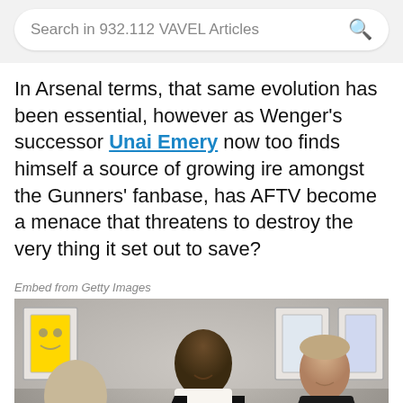Search in 932.112 VAVEL Articles
In Arsenal terms, that same evolution has been essential, however as Wenger's successor Unai Emery now too finds himself a source of growing ire amongst the Gunners' fanbase, has AFTV become a menace that threatens to destroy the very thing it set out to save?
Embed from Getty Images
[Figure (photo): Two men in dark suits facing each other and smiling, indoors, with framed jerseys on the wall in the background, and a third person partially visible on the left.]